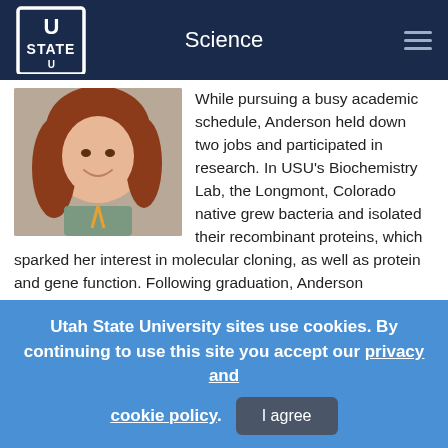Science
[Figure (photo): Young woman with long reddish-brown hair smiling, wearing a green top, photographed outdoors against a stone background.]
While pursuing a busy academic schedule, Anderson held down two jobs and participated in research. In USU's Biochemistry Lab, the Longmont, Colorado native grew bacteria and isolated their recombinant proteins, which sparked her interest in molecular cloning, as well as protein and gene function. Following graduation, Anderson plans to pursue doctoral studies with the ultimate goal of
Utah State University sites use cookies. By continuing to use this site you accept our privacy and cookie policy.